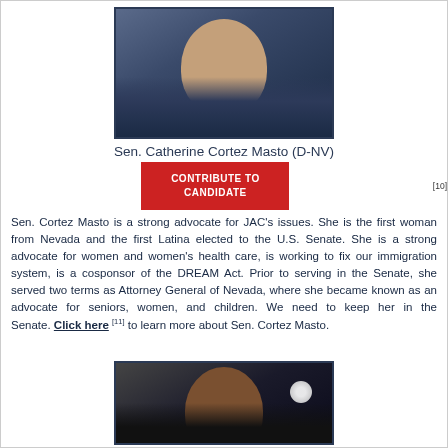[Figure (photo): Headshot photo of Sen. Catherine Cortez Masto]
Sen. Catherine Cortez Masto (D-NV)
[Figure (other): Red 'CONTRIBUTE TO CANDIDATE' button with footnote [10]]
Sen. Cortez Masto is a strong advocate for JAC's issues. She is the first woman from Nevada and the first Latina elected to the U.S. Senate. She is a strong advocate for women and women's health care, is working to fix our immigration system, is a cosponsor of the DREAM Act. Prior to serving in the Senate, she served two terms as Attorney General of Nevada, where she became known as an advocate for seniors, women, and children. We need to keep her in the Senate. Click here [11] to learn more about Sen. Cortez Masto.
[Figure (photo): Headshot photo of second candidate (partially visible at bottom)]